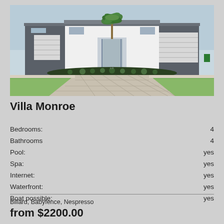[Figure (photo): Exterior photo of Villa Monroe – modern single-story house with stone facade, palm tree in center, double garage, paver driveway, landscaped lawn]
Villa Monroe
| Bedrooms: | 4 |
| Bathrooms | 4 |
| Pool: | yes |
| Spa: | yes |
| Internet: | yes |
| Waterfront: | yes |
| Boat possible: | yes |
Billard, Babyfence, Nespresso
from $2200.00